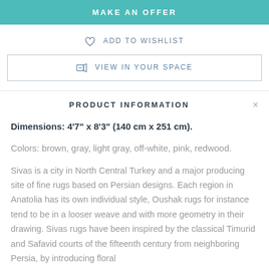MAKE AN OFFER
ADD TO WISHLIST
VIEW IN YOUR SPACE
PRODUCT INFORMATION
Dimensions: 4'7" x 8'3" (140 cm x 251 cm).
Colors: brown, gray, light gray, off-white, pink, redwood.
Sivas is a city in North Central Turkey and a major producing site of fine rugs based on Persian designs. Each region in Anatolia has its own individual style, Oushak rugs for instance tend to be in a looser weave and with more geometry in their drawing. Sivas rugs have been inspired by the classical Timurid and Safavid courts of the fifteenth century from neighboring Persia, by introducing floral